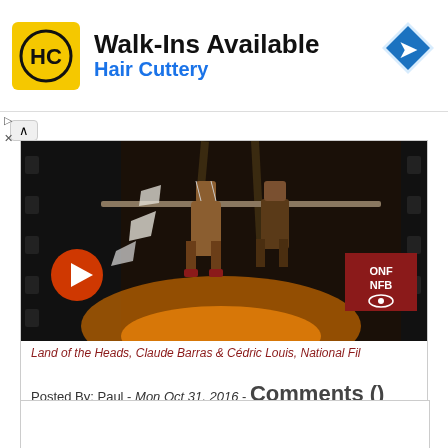[Figure (advertisement): Hair Cuttery advertisement banner with HC logo, 'Walk-Ins Available' headline, 'Hair Cuttery' subtitle in blue, and navigation arrow icon]
[Figure (screenshot): Video thumbnail still from 'Land of the Heads' animated film showing puppet characters with play button overlay and ONF/NFB logo badge]
Land of the Heads, Claude Barras & Cédric Louis, National Fil
Posted By: Paul - Mon Oct 31, 2016 - Comments ()
Category: Holidays, Horror, Blood, Head, Fictional Monsters